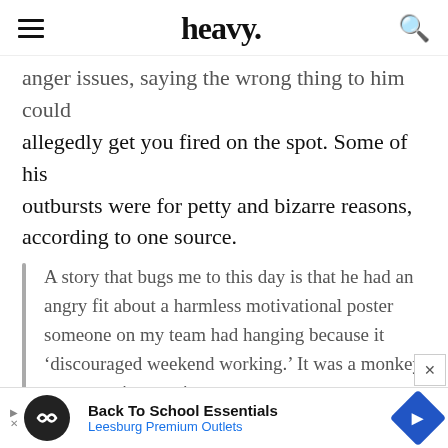heavy.
anger issues, saying the wrong thing to him could allegedly get you fired on the spot. Some of his outbursts were for petty and bizarre reasons, according to one source.
A story that bugs me to this day is that he had an angry fit about a harmless motivational poster someone on my team had hanging because it ‘discouraged weekend working.’ It was a monkey on some vines saying
[Figure (screenshot): Advertisement banner: Back To School Essentials - Leesburg Premium Outlets]